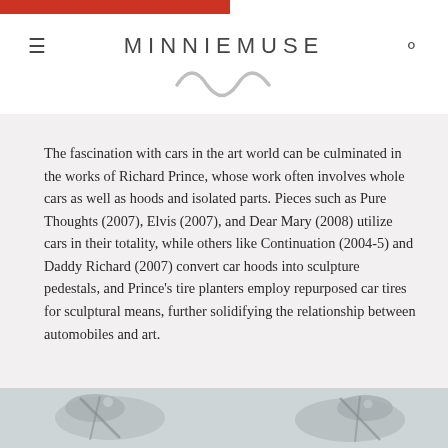MINNIEMUSE
The fascination with cars in the art world can be culminated in the works of Richard Prince, whose work often involves whole cars as well as hoods and isolated parts. Pieces such as Pure Thoughts (2007), Elvis (2007), and Dear Mary (2008) utilize cars in their totality, while others like Continuation (2004-5) and Daddy Richard (2007) convert car hoods into sculpture pedestals, and Prince's tire planters employ repurposed car tires for sculptural means, further solidifying the relationship between automobiles and art.
[Figure (photo): Bottom partial image showing decorative sculptural objects on a light background]